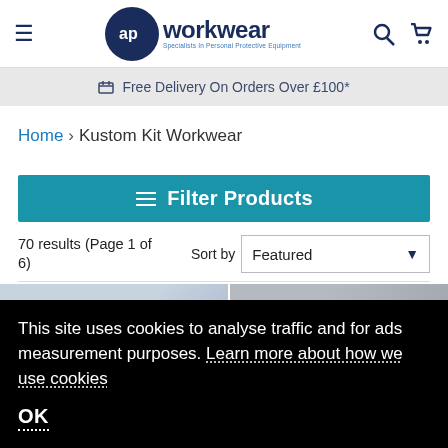ap workwear — Specialists in Personal Protective Equipment
Free Delivery On Orders Over £100*
Home > Kustom Kit Workwear
Filter Products
70 results (Page 1 of 6)  Sort by  Featured
This site uses cookies to analyse traffic and for ads measurement purposes. Learn more about how we use cookies
OK